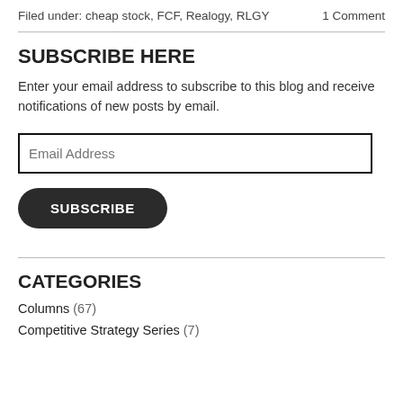Filed under: cheap stock, FCF, Realogy, RLGY    1 Comment
SUBSCRIBE HERE
Enter your email address to subscribe to this blog and receive notifications of new posts by email.
CATEGORIES
Columns (67)
Competitive Strategy Series (7)